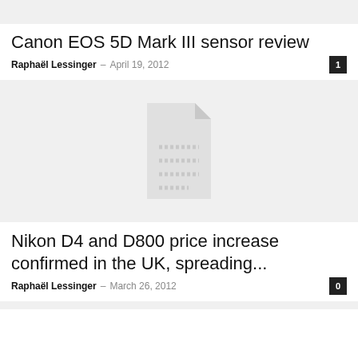[Figure (other): Top gray bar placeholder]
Canon EOS 5D Mark III sensor review
Raphaël Lessinger – April 19, 2012
[Figure (illustration): Gray placeholder image with a document/article icon in the center]
Nikon D4 and D800 price increase confirmed in the UK, spreading...
Raphaël Lessinger – March 26, 2012